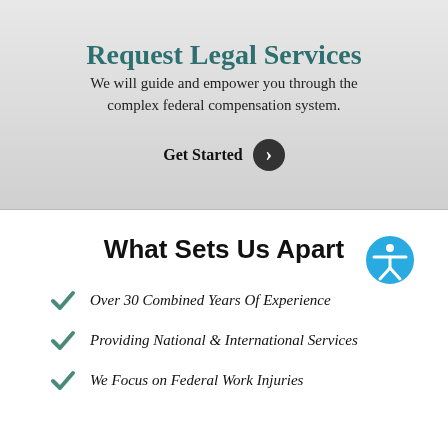Request Legal Services
We will guide and empower you through the complex federal compensation system.
Get Started
What Sets Us Apart
Over 30 Combined Years Of Experience
Providing National & International Services
We Focus on Federal Work Injuries